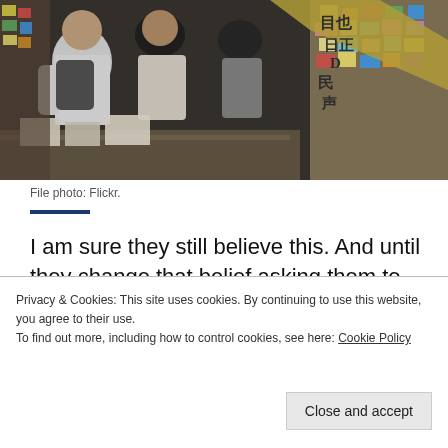[Figure (photo): Photo of a protest scene with people and colorful sticky notes and signs with Chinese characters, taken indoors or at a stall.]
File photo: Flickr.
I am sure they still believe this. And until they change that belief asking them to apologise does not really make sense.
You may, of course, say that suffering a cholera
Privacy & Cookies: This site uses cookies. By continuing to use this website, you agree to their use.
To find out more, including how to control cookies, see here: Cookie Policy
Close and accept